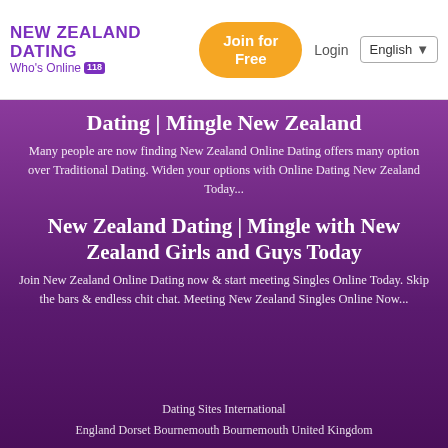NEW ZEALAND DATING Who's Online 118 | Join for Free | Login | English
Dating | Mingle New Zealand
Many people are now finding New Zealand Online Dating offers many option over Traditional Dating. Widen your options with Online Dating New Zealand Today...
New Zealand Dating | Mingle with New Zealand Girls and Guys Today
Join New Zealand Online Dating now & start meeting Singles Online Today. Skip the bars & endless chit chat. Meeting New Zealand Singles Online Now...
Dating Sites International
England Dorset Bournemouth Bournemouth United Kingdom